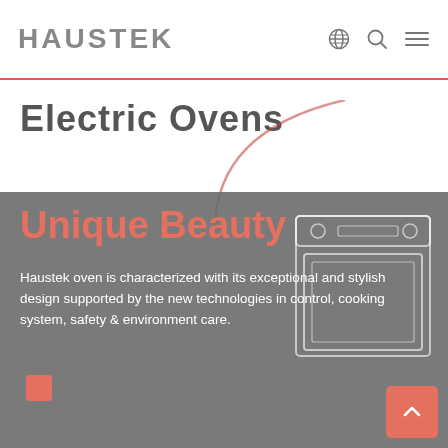HAUSTEK
Electric Ovens
Unique Beauty
Haustek oven is characterized with its exceptional and stylish design supported by the new technologies in control, cooking system, safety & environment care.
[Figure (illustration): Line drawing illustration of a built-in electric oven, showing front view with control panel, knobs, and oven door.]